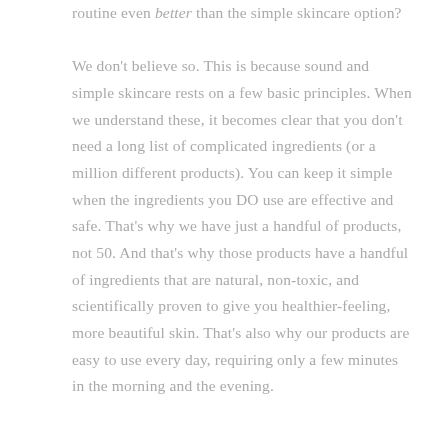routine even better than the simple skincare option?

We don't believe so. This is because sound and simple skincare rests on a few basic principles. When we understand these, it becomes clear that you don't need a long list of complicated ingredients (or a million different products). You can keep it simple when the ingredients you DO use are effective and safe. That's why we have just a handful of products, not 50. And that's why those products have a handful of ingredients that are natural, non-toxic, and scientifically proven to give you healthier-feeling, more beautiful skin. That's also why our products are easy to use every day, requiring only a few minutes in the morning and the evening.